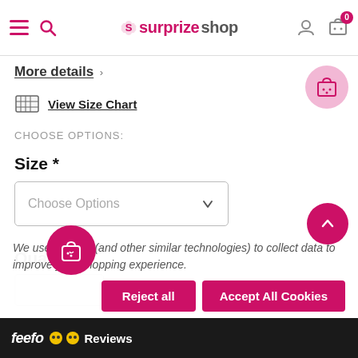surprizeshop - navigation header with hamburger menu, search, logo, user icon, cart (0)
More details
View Size Chart
CHOOSE OPTIONS:
Size *
Choose Options
Quantity:
We use cookies (and other similar technologies) to collect data to improve your shopping experience.
Reject all
Accept All Cookies
feefo Reviews